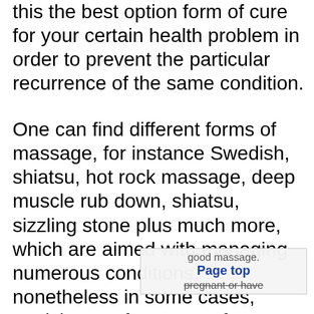this the best option form of cure for your certain health problem in order to prevent the particular recurrence of the same condition.
One can find different forms of massage, for instance Swedish, shiatsu, hot rock massage, deep muscle rub down, shiatsu, sizzling stone plus much more, which are aimed with managing numerous conditions, nonetheless in some cases, studying opt for a type of massage the fact that concentrates on relieving pain. For instance, if you are troubled from joint pain, it's choose a good type involving therapeutic massage that focuses upon relaxing the body parts this kind of as the joints to help give a temporary relief from this.
It is usually important to ensure that you take health care associated with yourself to steer clear of any type of injuries while undergoing a good massage. This is in particular so if you will be pregnant or have